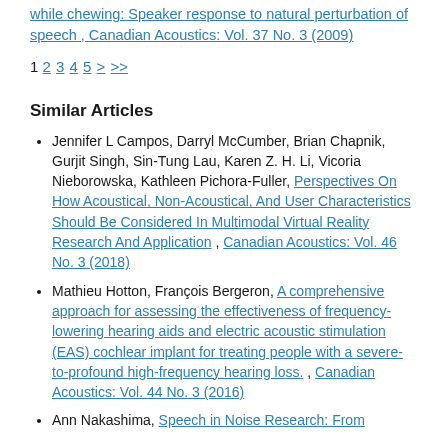while chewing: Speaker response to natural perturbation of speech , Canadian Acoustics: Vol. 37 No. 3 (2009)
1 2 3 4 5 > >>
Similar Articles
Jennifer L Campos, Darryl McCumber, Brian Chapnik, Gurjit Singh, Sin-Tung Lau, Karen Z. H. Li, Vicoria Nieborowska, Kathleen Pichora-Fuller, Perspectives On How Acoustical, Non-Acoustical, And User Characteristics Should Be Considered In Multimodal Virtual Reality Research And Application , Canadian Acoustics: Vol. 46 No. 3 (2018)
Mathieu Hotton, François Bergeron, A comprehensive approach for assessing the effectiveness of frequency-lowering hearing aids and electric acoustic stimulation (EAS) cochlear implant for treating people with a severe-to-profound high-frequency hearing loss. , Canadian Acoustics: Vol. 44 No. 3 (2016)
Ann Nakashima, Speech in Noise Research: From